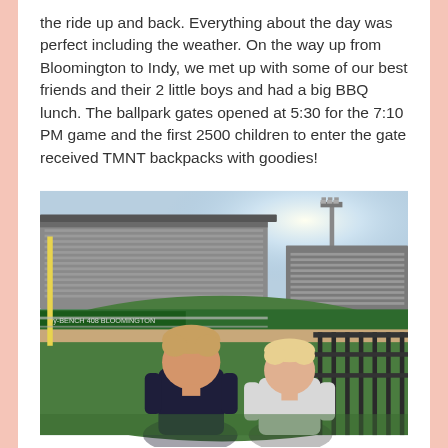the ride up and back. Everything about the day was perfect including the weather. On the way up from Bloomington to Indy, we met up with some of our best friends and their 2 little boys and had a big BBQ lunch. The ballpark gates opened at 5:30 for the 7:10 PM game and the first 2500 children to enter the gate received TMNT backpacks with goodies!
[Figure (photo): Two young boys standing with their backs to the camera, looking out over a baseball field/stadium from near the outfield fence. The stadium has grandstands in the background, bright sunshine, and a light tower visible. Green grass of the field is visible, along with metal railings.]